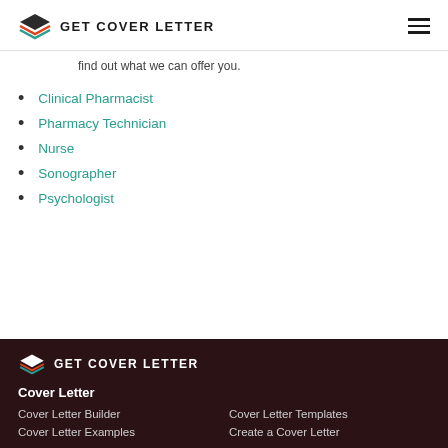GET COVER LETTER
find out what we can offer you.
Clinical Pharmacist
Pharmacy Technician
Nurse
Sonographer
Psychologist
GET COVER LETTER | Cover Letter | Cover Letter Builder | Cover Letter Templates | Cover Letter Examples | Create a Cover Letter